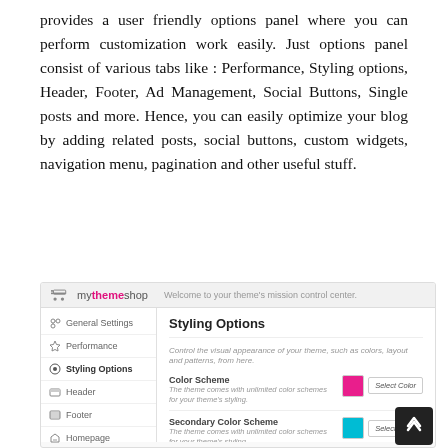provides a user friendly options panel where you can perform customization work easily. Just options panel consist of various tabs like : Performance, Styling options, Header, Footer, Ad Management, Social Buttons, Single posts and more. Hence, you can easily optimize your blog by adding related posts, social buttons, custom widgets, navigation menu, pagination and other useful stuff.
[Figure (screenshot): Screenshot of the MyThemeShop admin panel showing the Styling Options section with Color Scheme and Secondary Color Scheme settings, each with a color swatch and Select Color button. The left sidebar shows menu items: General Settings, Performance, Styling Options, Header, Footer, Homepage, Single Posts, Social Buttons.]